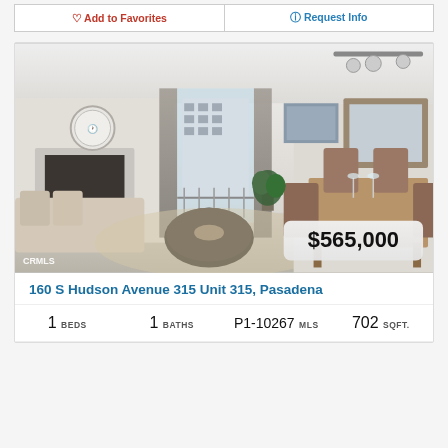Add to Favorites
Request Info
[Figure (photo): Interior photo of a furnished living/dining room area with fireplace, clock on wall, curtains, balcony view, dining table with chairs, and track lighting. Price badge shows $565,000. CRMLS watermark in bottom left.]
160 S Hudson Avenue 315 Unit 315, Pasadena
1 BEDS  1 BATHS  P1-10267 MLS  702 SQFT.